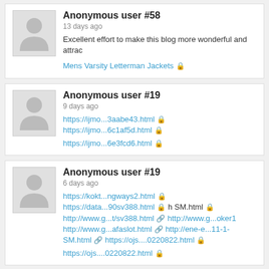Anonymous user #58
13 days ago
Excellent effort to make this blog more wonderful and attrac...
Mens Varsity Letterman Jackets 🔒
Anonymous user #19
9 days ago
https://ijmo...3aabe43.html 🔒 https://ijmo...6c1af5d.html 🔒 https://ijmo...6e3fcd6.html 🔒
Anonymous user #19
6 days ago
https://kokt...ngways2.html 🔒 https://data...90sv388.html 🔒 h...SM.html 🔒 http://www.g...t/sv388.html 🔗 http://www.g...oker1... http://www.g...afaslot.html 🔗 http://ene-e...11-1-SM.html 🔗 https://ojs....0220822.html 🔒 https://ojs....0220822.html 🔒